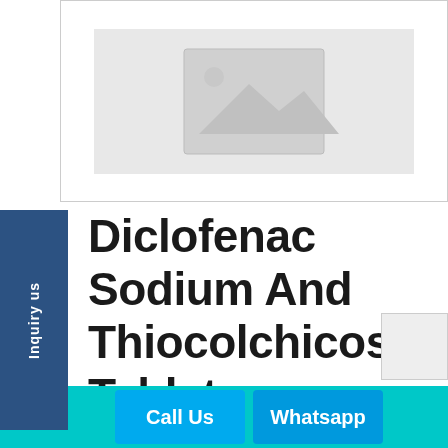[Figure (photo): Placeholder product image with grey background and image icon]
Diclofenac Sodium And Thiocolchicoside Tablets
COLETH-T
Category: Uncategorized